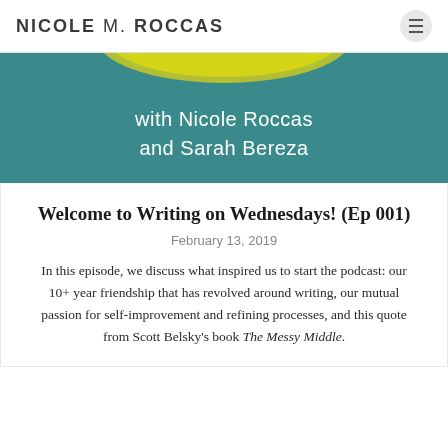NICOLE M. ROCCAS
[Figure (illustration): Podcast banner with teal/dark cyan background, yellow arc at the top, and white text reading 'with Nicole Roccas and Sarah Bereza']
Welcome to Writing on Wednesdays! (Ep 001)
February 13, 2019
In this episode, we discuss what inspired us to start the podcast: our 10+ year friendship that has revolved around writing, our mutual passion for self-improvement and refining processes, and this quote from Scott Belsky's book The Messy Middle.